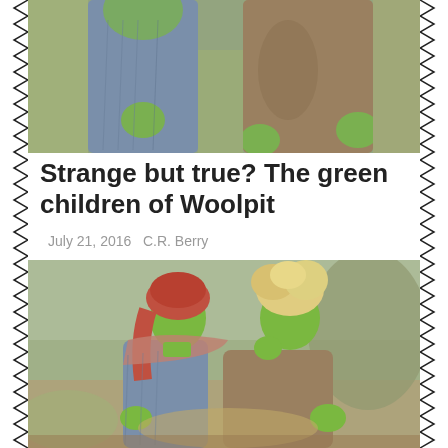[Figure (photo): Top partial image of two children with green-tinted skin wearing period clothing, cropped showing torsos only, painted/illustrated style]
Strange but true? The green children of Woolpit
July 21, 2016   C.R. Berry
[Figure (photo): Illustrated/painted image of two children with green-tinted skin sitting together. The girl on the left wears a red headscarf and blue dress; the boy on the right has blonde curly hair and wears a brown coat. Both have distinctly green faces and hands. Background shows a garden or outdoor setting.]